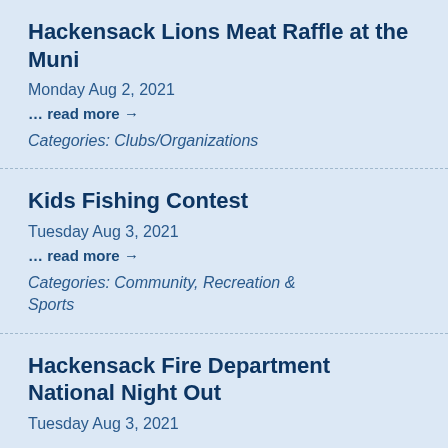Hackensack Lions Meat Raffle at the Muni
Monday Aug 2, 2021
… read more →
Categories: Clubs/Organizations
Kids Fishing Contest
Tuesday Aug 3, 2021
… read more →
Categories: Community, Recreation & Sports
Hackensack Fire Department National Night Out
Tuesday Aug 3, 2021